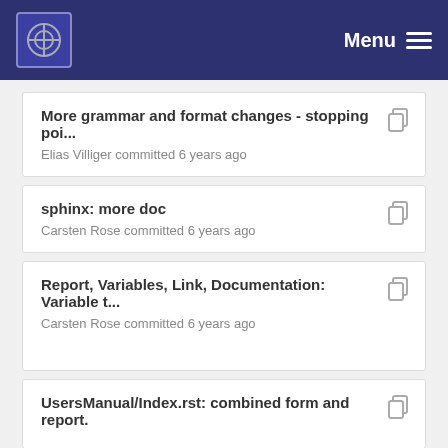Menu
More grammar and format changes - stopping poi...
Elias Villiger committed 6 years ago
sphinx: more doc
Carsten Rose committed 6 years ago
Report, Variables, Link, Documentation: Variable t...
Carsten Rose committed 6 years ago
UsersManual/Index.rst: combined form and report.